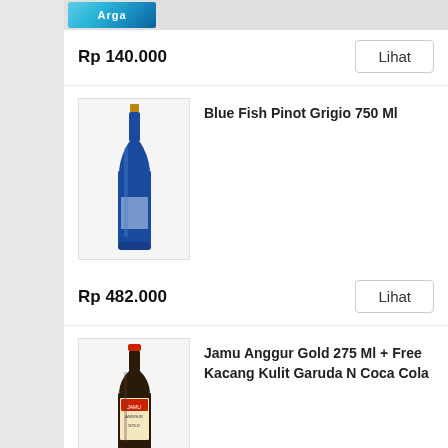[Figure (photo): Arga brand banner/logo at the top, teal/blue color]
Rp 140.000
Lihat
[Figure (photo): Blue Fish Pinot Grigio 750 Ml bottle, dark blue glass wine bottle]
Blue Fish Pinot Grigio 750 Ml
Rp 482.000
Lihat
[Figure (photo): Jamu Anggur Gold 275 Ml bottle, dark brown/black small bottle with label]
Jamu Anggur Gold 275 Ml + Free Kacang Kulit Garuda N Coca Cola
Rp 45.000
Lihat